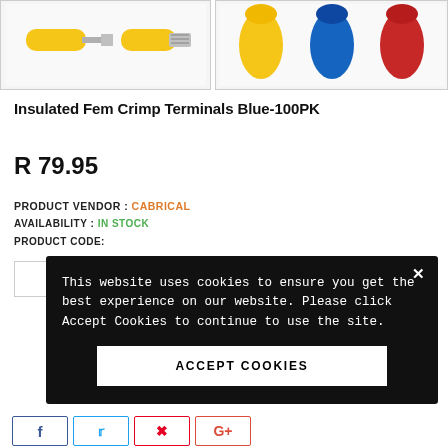[Figure (photo): Left product image box showing yellow male and female crimp terminals]
[Figure (photo): Right product image box showing yellow, blue, and red insulated female crimp terminals]
Insulated Fem Crimp Terminals Blue-100PK
R 79.95
PRODUCT VENDOR : CABRICAL
AVAILABILITY : IN STOCK
PRODUCT CODE:
This website uses cookies to ensure you get the best experience on our website. Please click Accept Cookies to continue to use the site.
ACCEPT COOKIES